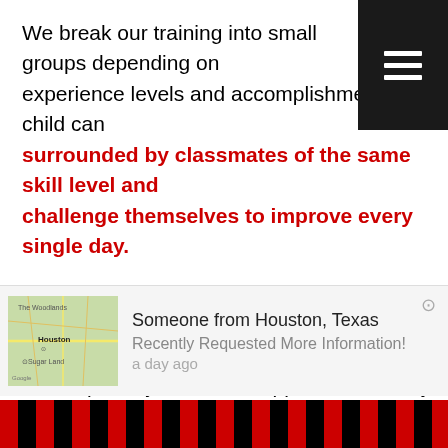We break our training into small groups depending on experience levels and accomplishment. Your child can be surrounded by classmates of the same skill level and challenge themselves to improve every single day.
At Sport Karate America, students rely on hands-on instruction from some of the most accomplished instructors in West Houston. We help every child feel supported from day one.
Our Kids Martial Arts program offers:
Effective bully prevention strategies
Lifelong habits of physical activity
A great group of new friends
[Figure (screenshot): Notification popup showing a map of Houston, Texas area with text: 'Someone from Houston, Texas - Recently Requested More Information! - a day ago']